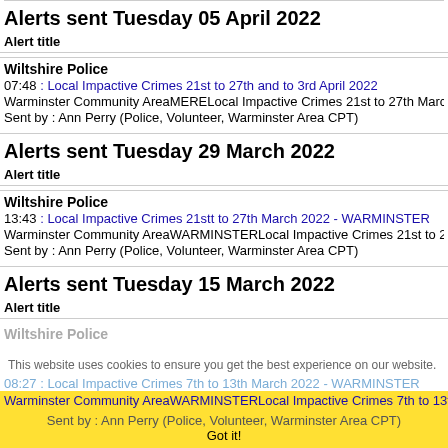Alerts sent Tuesday 05 April 2022
Alert title
Wiltshire Police
07:48 : Local Impactive Crimes 21st to 27th and to 3rd April 2022
Warminster Community AreaMERELocal Impactive Crimes 21st to 27th March an
Sent by : Ann Perry (Police, Volunteer, Warminster Area CPT)
Alerts sent Tuesday 29 March 2022
Alert title
Wiltshire Police
13:43 : Local Impactive Crimes 21stt to 27th March 2022 - WARMINSTER
Warminster Community AreaWARMINSTERLocal Impactive Crimes 21st to 27th
Sent by : Ann Perry (Police, Volunteer, Warminster Area CPT)
Alerts sent Tuesday 15 March 2022
Alert title
Wiltshire Police
This website uses cookies to ensure you get the best experience on our website.
08:27 : Local Impactive Crimes 7th to 13th March 2022 - WARMINSTER
Warminster Community AreaWARMINSTERLocal Impactive Crimes 7th to 13th M
Sent by : Ann Perry (Police, Volunteer, Warminster Area CPT)
Got it!